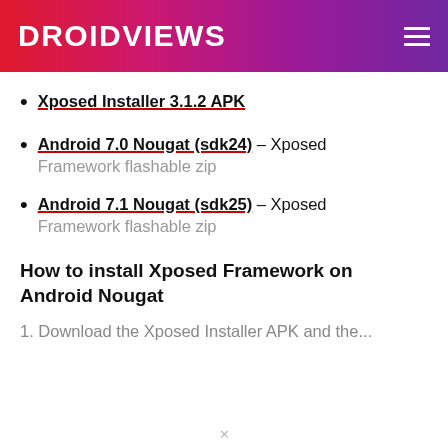DROIDViEWS
Xposed Installer 3.1.2 APK
Android 7.0 Nougat (sdk24) – Xposed Framework flashable zip
Android 7.1 Nougat (sdk25) – Xposed Framework flashable zip
How to install Xposed Framework on Android Nougat
1. Download the Xposed Installer APK and the...